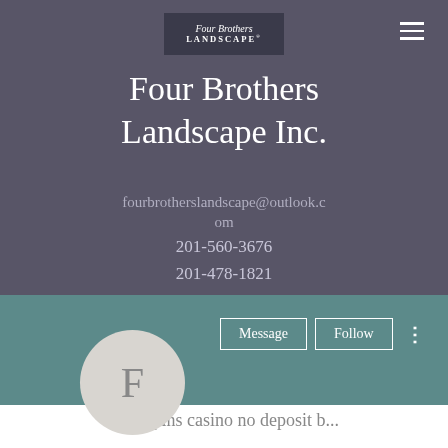[Figure (logo): Four Brothers Landscape logo in dark box]
Four Brothers Landscape Inc.
fourbrotherslandscape@outlook.com
201-560-3676
201-478-1821
[Figure (screenshot): Profile avatar circle with letter F, Message and Follow buttons]
Free spins casino no deposit b...